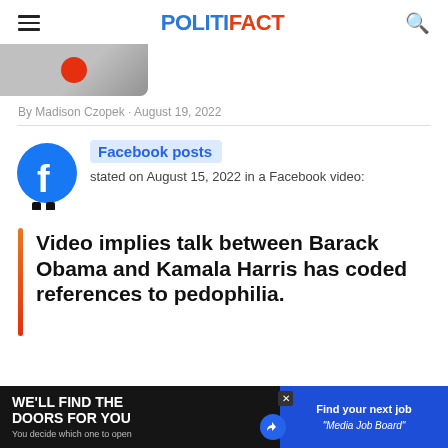POLITIFACT
[Figure (photo): Partial image showing a dark gray/silver device with a red dot, cropped at top]
By Madison Czopek · August 19, 2022
Facebook posts stated on August 15, 2022 in a Facebook video:
Video implies talk between Barack Obama and Kamala Harris has coded references to pedophilia.
[Figure (infographic): Advertisement banner: WE'LL FIND THE DOORS FOR YOU / You decide which one to open | Find your next job - Media Job Board]